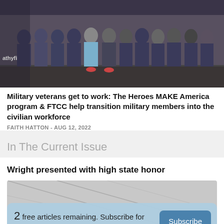[Figure (photo): Group photo of military veterans and program participants standing together indoors, many wearing navy blue shirts]
Military veterans get to work: The Heroes MAKE America program & FTCC help transition military members into the civilian workforce
FAITH HATTON - AUG 12, 2022
In The Current Issue
Wright presented with high state honor
[Figure (photo): Partially visible photo below the article title, overlaid with a subscription prompt]
2  free articles remaining. Subscribe for unlimited access
Subscribe